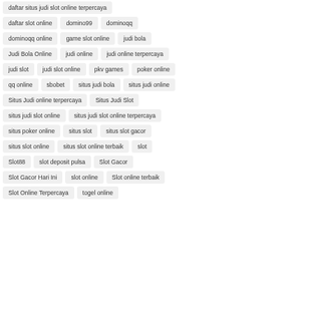daftar situs judi slot online terpercaya
daftar slot online
domino99
dominoqq
dominoqq online
game slot online
judi bola
Judi Bola Online
judi online
judi online terpercaya
judi slot
judi slot online
pkv games
poker online
qq online
sbobet
situs judi bola
situs judi online
Situs Judi online terpercaya
Situs Judi Slot
situs judi slot online
situs judi slot online terpercaya
situs poker online
situs slot
situs slot gacor
situs slot online
situs slot online terbaik
slot
Slot88
slot deposit pulsa
Slot Gacor
Slot Gacor Hari Ini
slot online
Slot online terbaik
Slot Online Terpercaya
togel online